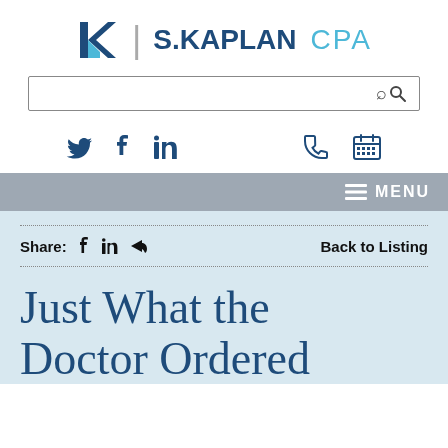[Figure (logo): S. Kaplan CPA logo with blue K monogram and text]
[Figure (screenshot): Search input box with search icon]
[Figure (infographic): Social media icons: Twitter, Facebook, LinkedIn, phone, calendar]
≡ MENU
Share: f in < Back to Listing
Just What the Doctor Ordered